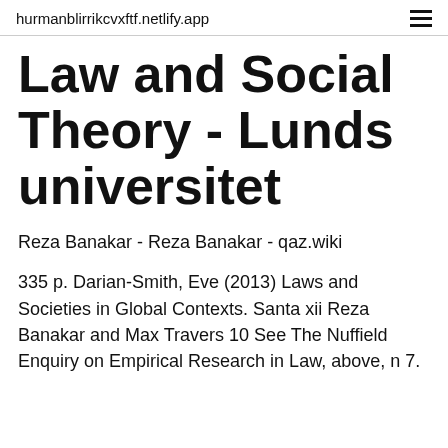hurmanblirrikcvxftf.netlify.app
Law and Social Theory - Lunds universitet
Reza Banakar - Reza Banakar - qaz.wiki
335 p. Darian-Smith, Eve (2013) Laws and Societies in Global Contexts. Santa xii Reza Banakar and Max Travers 10 See The Nuffield Enquiry on Empirical Research in Law, above, n 7.